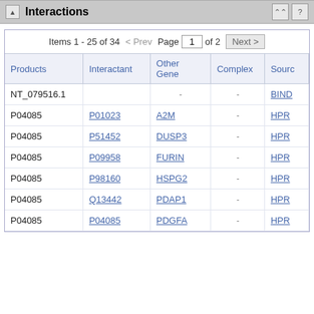Interactions
| Products | Interactant | Other Gene | Complex | Source |
| --- | --- | --- | --- | --- |
| NT_079516.1 |  | - | - | BIND |
| P04085 | P01023 | A2M | - | HPRI |
| P04085 | P51452 | DUSP3 | - | HPRI |
| P04085 | P09958 | FURIN | - | HPRI |
| P04085 | P98160 | HSPG2 | - | HPRI |
| P04085 | Q13442 | PDAP1 | - | HPRI |
| P04085 | P04085 | PDGFA | - | HPRI |